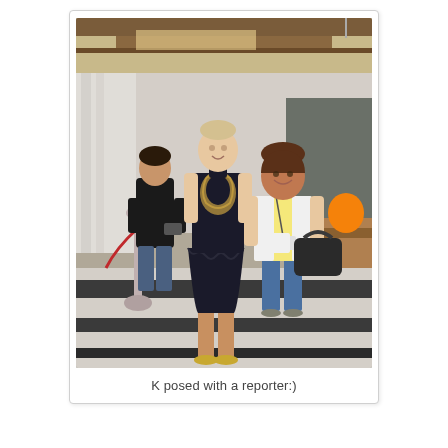[Figure (photo): Two women posing together in a hotel lobby. The taller woman on the left wears a black dress with gold lace embroidery and gold heels. The shorter woman on the right wears a yellow top, white jacket, jeans, and carries a black handbag. A man in a black t-shirt stands in the background holding a camera. A red velvet rope stanchion is visible on the left side. The floor features black and white marble tiles.]
K posed with a reporter:)